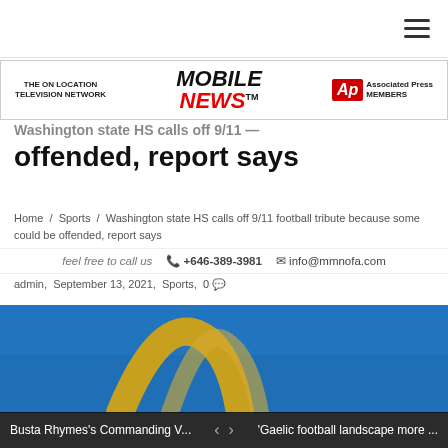[Figure (logo): Mobile News logo banner with The On Location Television Network branding and Associated Press Members badge]
offended, report says
Home / Sports / Washington state HS calls off 9/11 football tribute because some could be offended, report says
feel free to call us  +646-389-3981  info@mmnofa.com
admin, September 13, 2021, Sports, 0
[Figure (photo): Photo showing a golden arch sculpture against a blue sky]
Busta Rhymes's Commanding V...   <   >   'Gaelic football landscape more ...